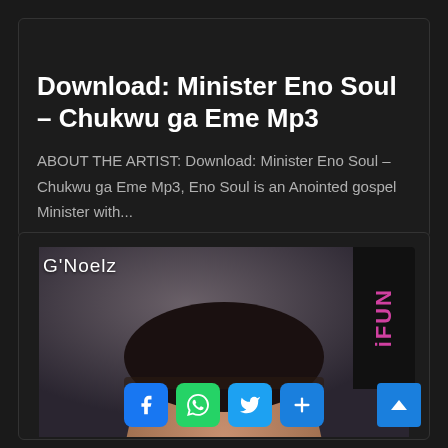MUSIC
Download: Minister Eno Soul – Chukwu ga Eme Mp3
ABOUT THE ARTIST: Download: Minister Eno Soul – Chukwu ga Eme Mp3, Eno Soul is an Anointed gospel Minister with...
[Figure (photo): Album art for G'Noelz with artist portrait showing top of head, overlaid with social media share buttons (Facebook, WhatsApp, Twitter, plus) and iFun branding on right side]